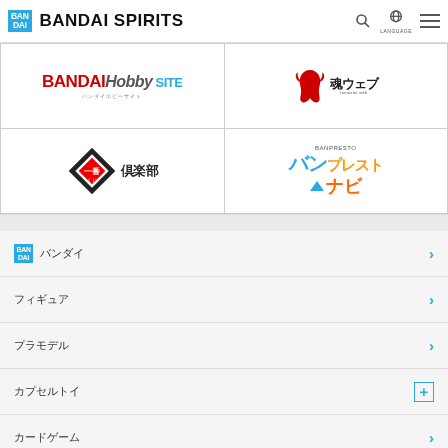BANDAI SPIRITS
[Figure (logo): BANDAI Hobby SITE logo]
[Figure (logo): Tamashii Web (魂ウェブ) logo]
[Figure (logo): Ichiban Kuji (一番くじ) 倶楽部 logo]
[Figure (logo): Banpresto Navi (バンプレストナビ) logo]
バンダイ
フィギュア
プラモデル
カプセルトイ
カードゲーム
ゲームソフト